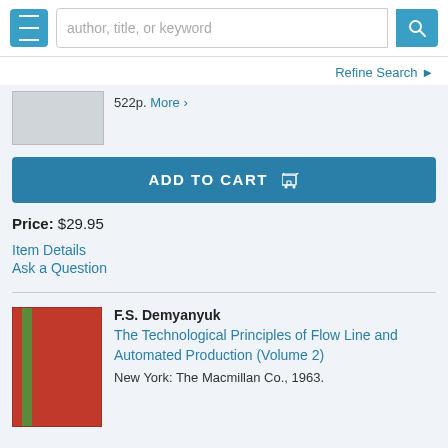author, title, or keyword [search bar]
Refine Search
522p. More >
ADD TO CART
Price: $29.95
Item Details
Ask a Question
F.S. Demyanyuk
The Technological Principles of Flow Line and Automated Production (Volume 2)
New York: The Macmillan Co., 1963.